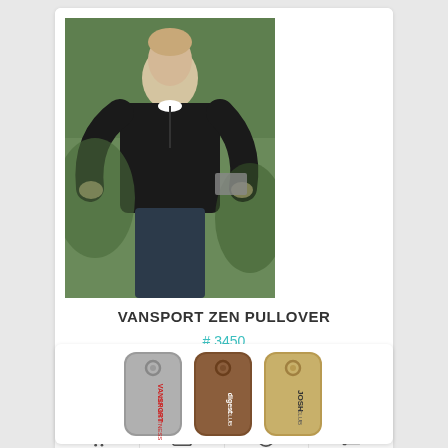[Figure (photo): Man wearing a black Vansport Zen Pullover jacket, walking outdoors]
VANSPORT ZEN PULLOVER
# 3450
10 day production time
$46.98 | Min Qty 1
[Figure (photo): Three metal luggage tag style keychains in gray, brown, and tan/gold colors with text imprinted on them]